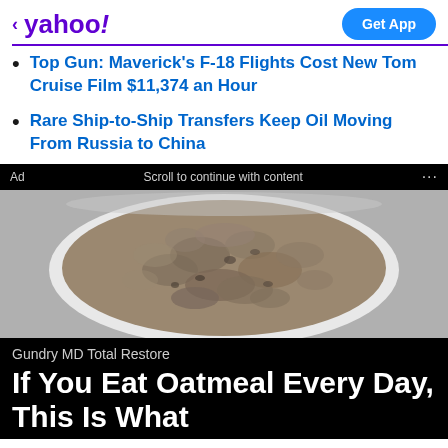< yahoo! | Get App
Top Gun: Maverick's F-18 Flights Cost New Tom Cruise Film $11,374 an Hour
Rare Ship-to-Ship Transfers Keep Oil Moving From Russia to China
Ad   Scroll to continue with content   ...
[Figure (photo): A white bowl filled with cooked oatmeal, viewed from above, on a white surface. The oatmeal has a gray-beige textured appearance.]
Gundry MD Total Restore
If You Eat Oatmeal Every Day, This Is What